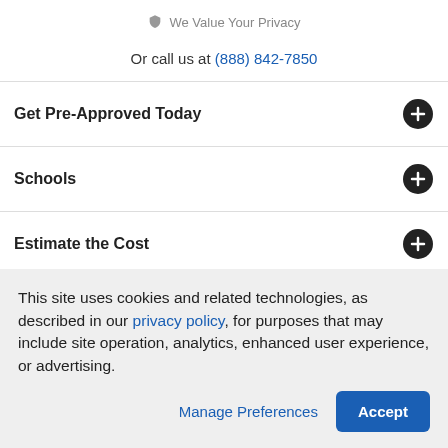We Value Your Privacy
Or call us at (888) 842-7850
Get Pre-Approved Today
Schools
Estimate the Cost
Community Info
This site uses cookies and related technologies, as described in our privacy policy, for purposes that may include site operation, analytics, enhanced user experience, or advertising.
Manage Preferences | Accept